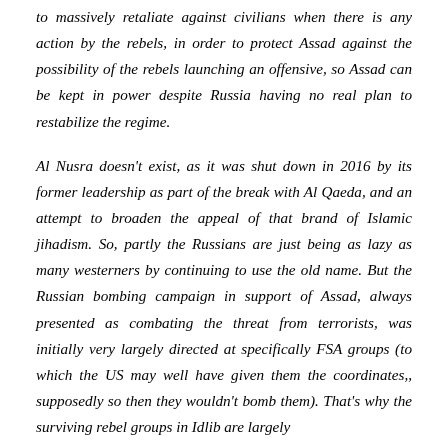to massively retaliate against civilians when there is any action by the rebels, in order to protect Assad against the possibility of the rebels launching an offensive, so Assad can be kept in power despite Russia having no real plan to restabilize the regime.
Al Nusra doesn't exist, as it was shut down in 2016 by its former leadership as part of the break with Al Qaeda, and an attempt to broaden the appeal of that brand of Islamic jihadism. So, partly the Russians are just being as lazy as many westerners by continuing to use the old name. But the Russian bombing campaign in support of Assad, always presented as combating the threat from terrorists, was initially very largely directed at specifically FSA groups (to which the US may well have given them the coordinates,, supposedly so then they wouldn't bomb them). That's why the surviving rebel groups in Idlib are largely